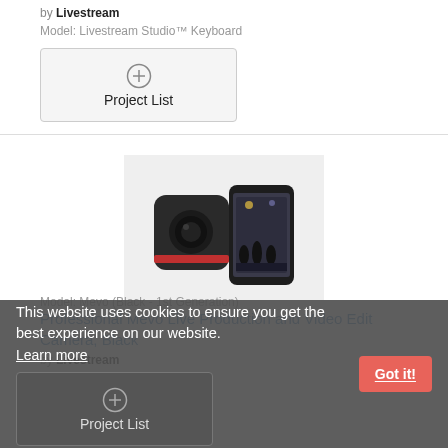by Livestream
Model: Livestream Studio™ Keyboard
[Figure (screenshot): Project List button with plus icon]
[Figure (photo): Mevo live production camera device, black, shown next to a smartphone displaying a live performance]
Professional Mevo Live Production and Video Edit Camera, Black
by Livestream
Model: Mevo (Black - 1st Generation)
This website uses cookies to ensure you get the best experience on our website. Learn more
Got it!